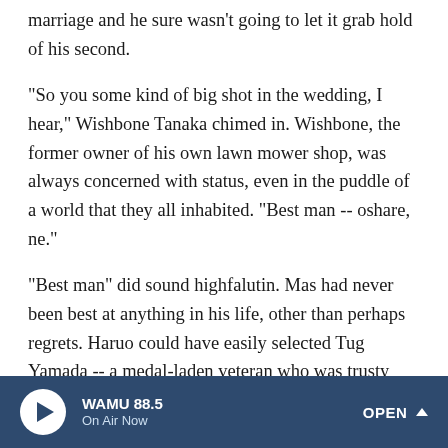marriage and he sure wasn't going to let it grab hold of his second.
"So you some kind of big shot in the wedding, I hear," Wishbone Tanaka chimed in. Wishbone, the former owner of his own lawn mower shop, was always concerned with status, even in the puddle of a world that they all inhabited. "Best man -- oshare, ne."
"Best man" did sound highfalutin. Mas had never been best at anything in his life, other than perhaps regrets. Haruo could have easily selected Tug Yamada -- a medal-laden veteran who was trusty and dependable and would never do anything like lose the bride's wedding ring to a giant fish. Or even Wishbone, who limped around with a walker, its back
WAMU 88.5 On Air Now OPEN